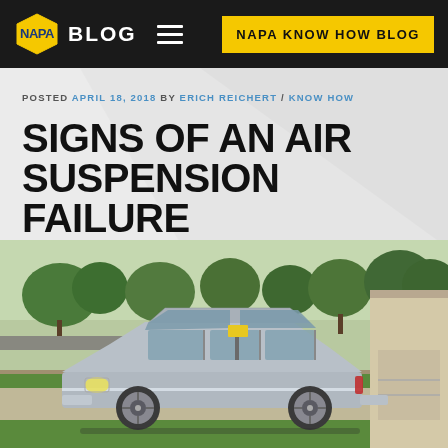NAPA BLOG | NAPA KNOW HOW BLOG
POSTED APRIL 18, 2018 BY ERICH REICHERT / KNOW HOW
SIGNS OF AN AIR SUSPENSION FAILURE
[Figure (photo): Silver full-size sedan (Lincoln Town Car) parked on a residential driveway with green lawn, trees, and suburban street in background]